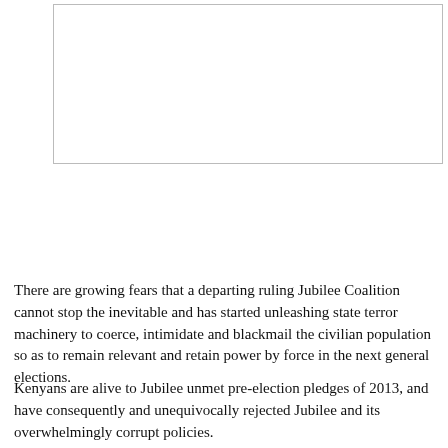[Figure (other): Empty outlined box/rectangle, appears to be a placeholder for an image or figure]
There are growing fears that a departing ruling Jubilee Coalition cannot stop the inevitable and has started unleashing state terror machinery to coerce, intimidate and blackmail the civilian population so as to remain relevant and retain power by force in the next general elections.
Kenyans are alive to Jubilee unmet pre-election pledges of 2013, and have consequently and unequivocally rejected Jubilee and its overwhelmingly corrupt policies.